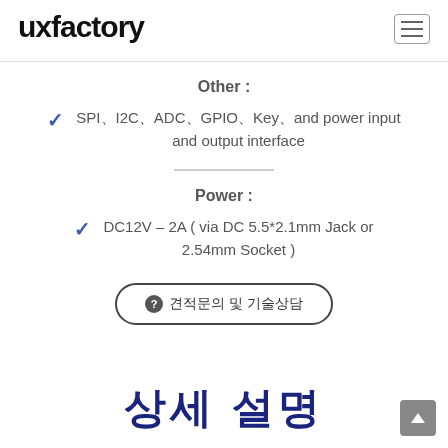uxfactory
Other :
SPI、I2C、ADC、GPIO、Key、and power input and output interface
Power :
DC12V – 2A ( via DC 5.5*2.1mm Jack or 2.54mm Socket )
❷ 견적문의 및 기술상담
상세 설명